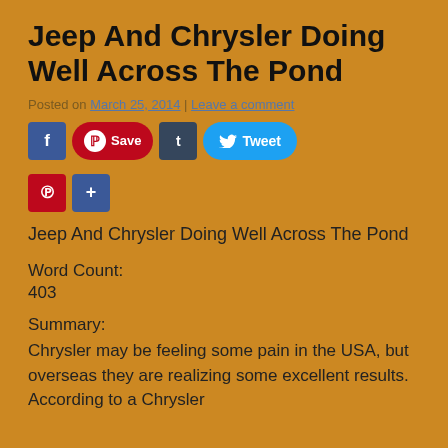Jeep And Chrysler Doing Well Across The Pond
Posted on March 25, 2014 | Leave a comment
[Figure (other): Social sharing buttons: Facebook, Pinterest Save, Tumblr, Tweet, Pinterest, Share]
Jeep And Chrysler Doing Well Across The Pond
Word Count:
403
Summary:
Chrysler may be feeling some pain in the USA, but overseas they are realizing some excellent results. According to a Chrysler